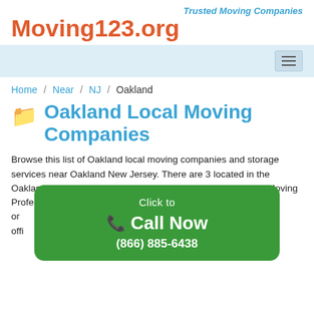Trusted Moving Companies
Moving123.org
[Figure (screenshot): Navigation bar with hamburger menu icon]
Home / Near / NJ / Oakland
Oakland Local Moving Companies
Browse this list of Oakland local moving companies and storage services near Oakland New Jersey. There are 3 located in the Oakland, area and listed by their name alphabetically. Find a Moving Professional, packer or storage near you from the list below or of the local offi ed, customer
[Figure (infographic): Green click-to-call overlay button with phone icon, text 'Click to Call Now (866) 885-6438']
Call us to x the